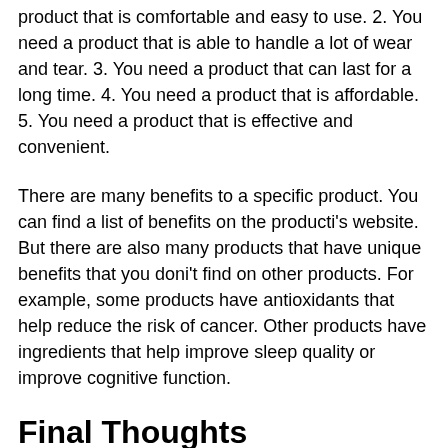product that is comfortable and easy to use. 2. You need a product that is able to handle a lot of wear and tear. 3. You need a product that can last for a long time. 4. You need a product that is affordable. 5. You need a product that is effective and convenient.
There are many benefits to a specific product. You can find a list of benefits on the producti's website. But there are also many products that have unique benefits that you doni't find on other products. For example, some products have antioxidants that help reduce the risk of cancer. Other products have ingredients that help improve sleep quality or improve cognitive function.
Final Thoughts
On the basis of these criteria, we chose our black overalls. Is this the last step in our procedure? No way. The most crucial